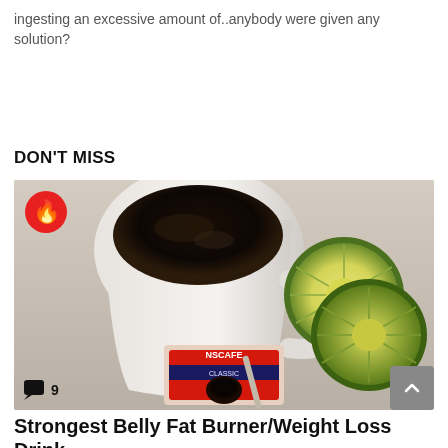ingesting an excessive amount of..anybody were given any solution?
DON'T MISS
[Figure (photo): A white coffee mug filled with black coffee, with sliced green citrus fruits (lime/kalamansi) and a Nescafe Classic coffee packet on a light-colored surface. A red circular fire/trending badge is overlaid in the top-left corner.]
Strongest Belly Fat Burner/Weight Loss Drink